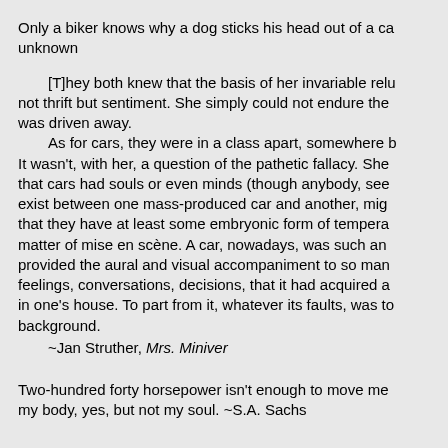Only a biker knows why a dog sticks his head out of a car window. ~unknown
[T]hey both knew that the basis of her invariable reluctance was not thrift but sentiment. She simply could not endure the sight of anything that was driven away.
      As for cars, they were in a class apart, somewhere between people and houses. It wasn't, with her, a question of the pathetic fallacy. She didn't pretend to herself that cars had souls or even minds (though anybody, seeing the differences that exist between one mass-produced car and another, might well be excused for thinking that they have at least some embryonic form of temperament). No, it was more a matter of mise en scène. A car, nowadays, was such an integral part of life that it provided the aural and visual accompaniment to so many of one's thoughts, feelings, conversations, decisions, that it had acquired a kind of ghostly familiarity in one's house. To part from it, whatever its faults, was to change one's background.
      ~Jan Struther, Mrs. Miniver
Two-hundred forty horsepower isn't enough to move me when I'm not moved; my body, yes, but not my soul. ~S.A. Sachs